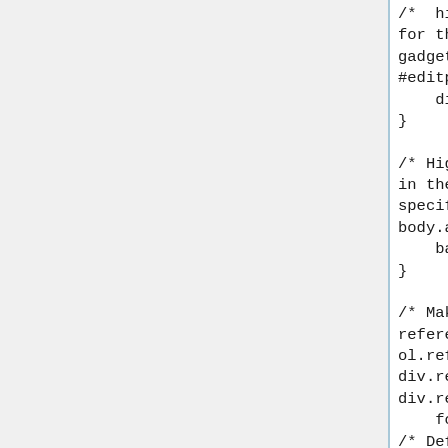/*  Hide charInsert base
for those not using the
gadget */
#editpage-specialchars {
    display: none;
}

/* Highlight data points
in the info action if
specified in the URL */
body.action-info :target {
    background: #DEF;
}

/* Make the list of
references smaller */
ol.references,
div.reflist,
div.refbegin {
    font-size: 90%;
/* Default font-size */
    margin-bottom: 0.5em;
}
div.refbegin-100 {
    font-size: 100%;